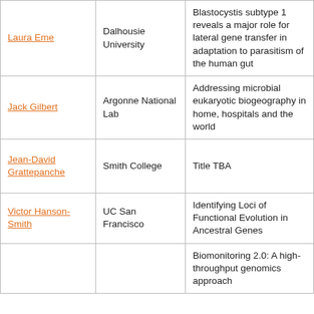| Speaker | Institution | Title |
| --- | --- | --- |
| Laura Eme | Dalhousie University | Blastocystis subtype 1 reveals a major role for lateral gene transfer in adaptation to parasitism of the human gut |
| Jack Gilbert | Argonne National Lab | Addressing microbial eukaryotic biogeography in home, hospitals and the world |
| Jean-David Grattepanche | Smith College | Title TBA |
| Victor Hanson-Smith | UC San Francisco | Identifying Loci of Functional Evolution in Ancestral Genes |
|  |  | Biomonitoring 2.0: A high-throughput genomics approach |